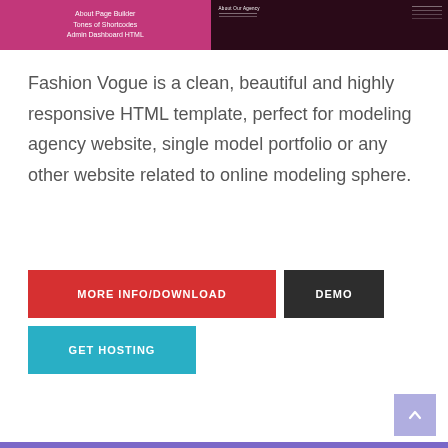[Figure (screenshot): Banner image showing a pink/magenta left panel with text 'About Page Builder', 'Tones of Shortcodes', 'Admin Dashboard HTML' and a dark right panel with a website screenshot overlay]
Fashion Vogue is a clean, beautiful and highly responsive HTML template, perfect for modeling agency website, single model portfolio or any other website related to online modeling sphere.
MORE INFO/DOWNLOAD
DEMO
GET HOSTING